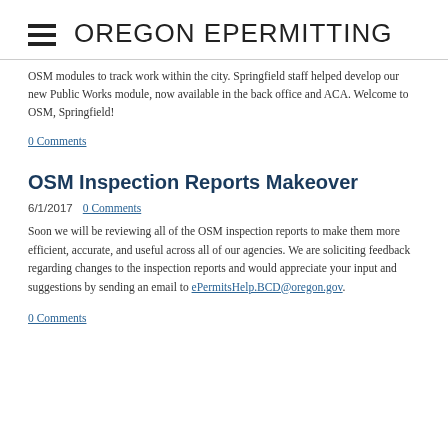OREGON EPERMITTING
OSM modules to track work within the city.  Springfield staff helped develop our new Public Works module, now available in the back office and ACA.  Welcome to OSM, Springfield!
0 Comments
OSM Inspection Reports Makeover
6/1/2017   0 Comments
Soon we will be reviewing all of the OSM inspection reports to make them more efficient, accurate, and useful across all of our agencies. We are soliciting feedback regarding changes to the inspection reports and would appreciate your input and suggestions by sending an email to ePermitsHelp.BCD@oregon.gov.
0 Comments